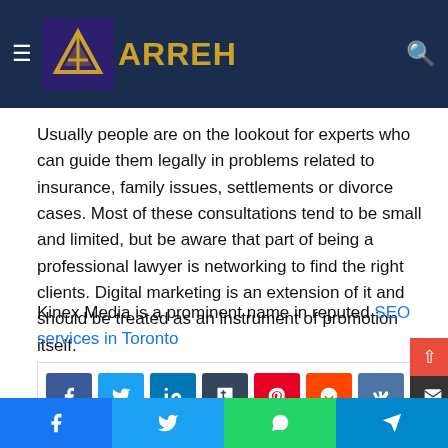AARREH (logo/brand header)
Usually people are on the lookout for experts who can guide them legally in problems related to insurance, family issues, settlements or divorce cases. Most of these consultations tend to be small and limited, but be aware that part of being a professional lawyer is networking to find the right clients. Digital marketing is an extension of it and should be treated as an instrument of promotion itself.
Kinex Media is a prominent name in reputed SEO services in Toronto
[Figure (other): Social sharing button bar with Facebook, Twitter, LinkedIn, Tumblr, Pinterest, Reddit, VK, Email icons]
Bottom sticky social bar with Facebook, Twitter, WhatsApp, Telegram share buttons